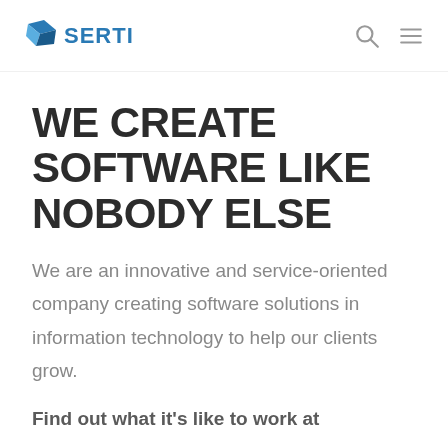SERTI
WE CREATE SOFTWARE LIKE NOBODY ELSE
We are an innovative and service-oriented company creating software solutions in information technology to help our clients grow.
Find out what it's like to work at